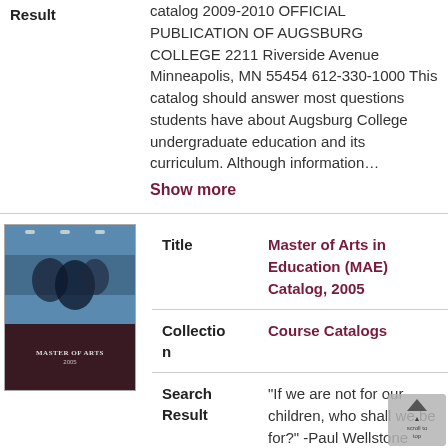catalog 2009-2010 OFFICIAL PUBLICATION OF AUGSBURG COLLEGE 2211 Riverside Avenue Minneapolis, MN 55454 612-330-1000 This catalog should answer most questions students have about Augsburg College undergraduate education and its curriculum. Although information...
Show more
[Figure (photo): Thumbnail cover image for Master of Arts in Education (MAE) Catalog 2005, showing a dark maroon bottom panel with 'MASTER OF ARTS' text and a blue/teal top panel.]
| Title | Master of Arts in Education (MAE) Catalog, 2005 |
| Collection | Course Catalogs |
| Search Result | "If we are not for our children, who shall be for?" -Paul Wellstone TABLE OF CONTENTS Welcome ... ................ ... . .. ....... . ...... ... .. . .... ... 1 Education Department ..... . . . . .. . . ... ... ............2 Introduction ..... |